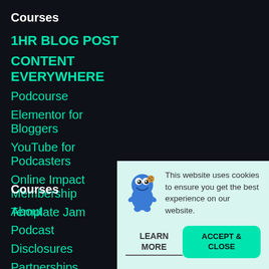Courses
1HR BLOG POST
CONTENT EVERYWHERE
Podcourse
Elementor for Bloggers
YouTube for Podcasters
Online Impact Membership
Template Jam
Courses
About
Podcast
Disclosures
Partnerships
This website uses cookies to ensure you get the best experience on our website.
LEARN MORE
ACCEPT & CLOSE